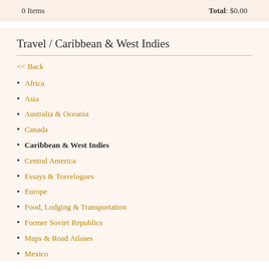0 Items    Total: $0.00
Travel / Caribbean & West Indies
<< Back
Africa
Asia
Australia & Oceania
Canada
Caribbean & West Indies
Central America
Essays & Travelogues
Europe
Food, Lodging & Transportation
Former Soviet Republics
Maps & Road Atlases
Mexico
Middle East
Museums, Tours, Points of Interest
Parks & Campgrounds
Pictorials